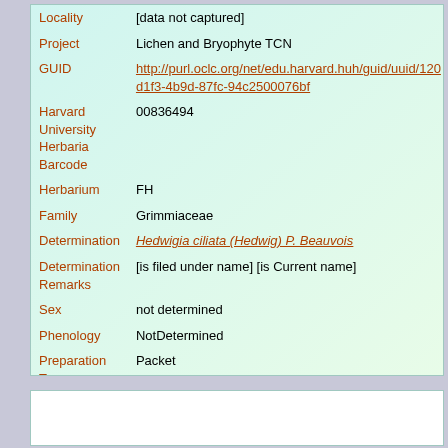| Field | Value |
| --- | --- |
| Locality | [data not captured] |
| Project | Lichen and Bryophyte TCN |
| GUID | http://purl.oclc.org/net/edu.harvard.huh/guid/uuid/120d1f3-4b9d-87fc-94c2500076bf |
| Harvard University Herbaria Barcode | 00836494 |
| Herbarium | FH |
| Family | Grimmiaceae |
| Determination | Hedwigia ciliata (Hedwig) P. Beauvois |
| Determination Remarks | [is filed under name] [is Current name] |
| Sex | not determined |
| Phenology | NotDetermined |
| Preparation Type | Packet |
| Preparation Method | Dried |